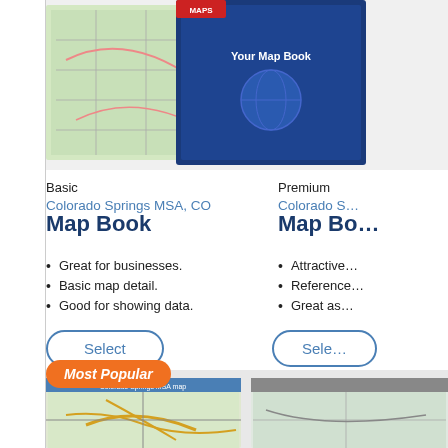[Figure (screenshot): Top row of map book product images – Basic Colorado Springs MSA map book cover and Premium map book cover]
Basic
Colorado Springs MSA, CO
Map Book
Great for businesses.
Basic map detail.
Good for showing data.
Select
Premium
Colorado S...
Map Bo...
Attractive...
Reference...
Great as...
Sele...
[Figure (screenshot): Most Popular badge and bottom row map product images – Colorado Springs area map products]
Most Popular